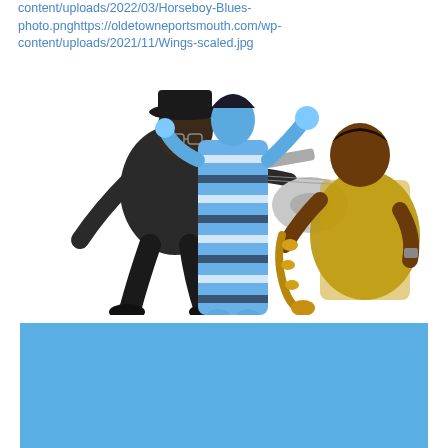content/uploads/2022/03/Horseboy-Blues-photo.pnghttps://oldetowneportsmouth.com/wp-content/uploads/2021/11/Wings-scaled.jpg
[Figure (photo): Three musicians/performers: left - a man in a hat playing an electric guitar (black and white/sepia toned); center - a woman in a striped dress rendered in blue tones; right - a man playing saxophone in golden/yellow tones]
[Figure (other): A solid cornflower blue rectangle filling the lower portion of the page]